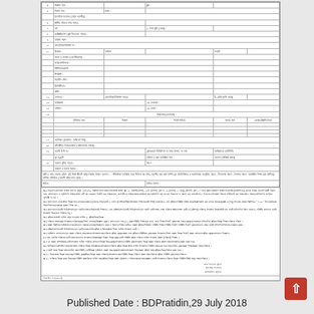[Figure (other): Bangladeshi government form with Bengali text, rows numbered 4-19 with fields for personal/administrative information, a table section for qualifications, notes sections, and footer with published date information.]
Published Date : BDPratidin,29 July 2018